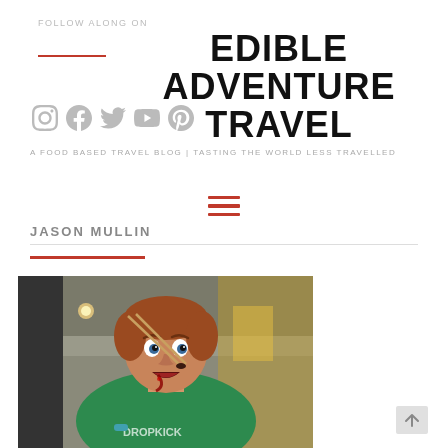FOLLOW ALONG ON
EDIBLE ADVENTURE TRAVEL
A FOOD BASED TRAVEL BLOG | TASTING THE WORLD LESS TRAVELLED
[Figure (infographic): Hamburger menu icon with three red horizontal lines]
JASON MULLIN
[Figure (photo): Man in green Dropkick t-shirt eating with chopsticks, appearing to have food/sauce on his mouth, in a restaurant or food market setting]